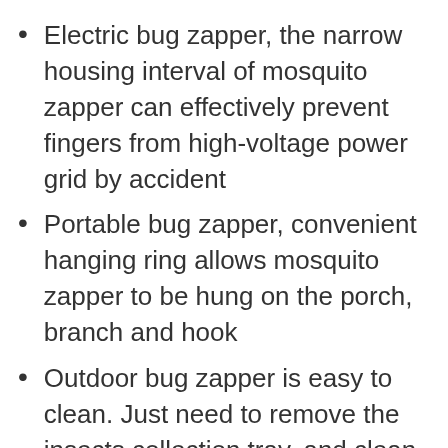Electric bug zapper, the narrow housing interval of mosquito zapper can effectively prevent fingers from high-voltage power grid by accident
Portable bug zapper, convenient hanging ring allows mosquito zapper to be hung on the porch, branch and hook
Outdoor bug zapper is easy to clean. Just need to remove the insects collection tray, and clean up the debris, then rinse with water. When you receive the bug zapper, if the light doesn't come on, please try